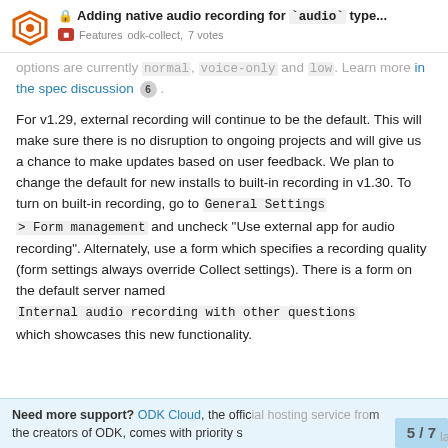Adding native audio recording for `audio` type... Features odk-collect, 7 votes
options are currently normal, voice-only and low. Learn more in the spec discussion 6 .
For v1.29, external recording will continue to be the default. This will make sure there is no disruption to ongoing projects and will give us a chance to make updates based on user feedback. We plan to change the default for new installs to built-in recording in v1.30. To turn on built-in recording, go to General Settings > Form management and uncheck "Use external app for audio recording". Alternately, use a form which specifies a recording quality (form settings always override Collect settings). There is a form on the default server named Internal audio recording with other questions which showcases this new functionality.
Need more support? ODK Cloud, the official hosting service from the creators of ODK, comes with priority s 5 / 7 la